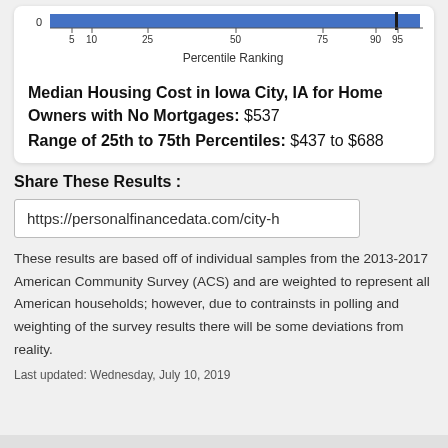[Figure (continuous-plot): Horizontal bar/percentile ranking chart showing position near the 90th-95th percentile, with x-axis labeled 'Percentile Ranking' and tick marks at 5, 10, 25, 50, 75, 90, 95. A blue bar extends nearly to the right edge with a dark marker near the 90-95 range.]
Median Housing Cost in Iowa City, IA for Home Owners with No Mortgages: $537
Range of 25th to 75th Percentiles: $437 to $688
Share These Results :
https://personalfinancedata.com/city-h
These results are based off of individual samples from the 2013-2017 American Community Survey (ACS) and are weighted to represent all American households; however, due to contrainsts in polling and weighting of the survey results there will be some deviations from reality.
Last updated: Wednesday, July 10, 2019